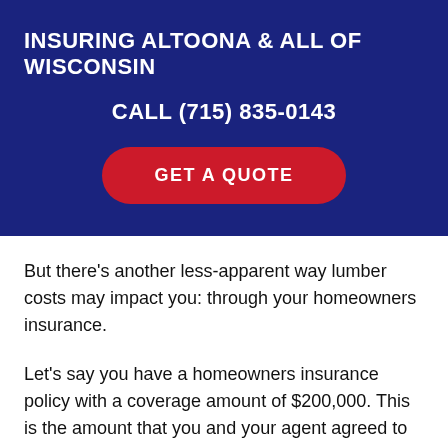INSURING ALTOONA & ALL OF WISCONSIN
CALL (715) 835-0143
[Figure (other): Red rounded rectangle button with white bold text reading GET A QUOTE]
But there's another less-apparent way lumber costs may impact you: through your homeowners insurance.
Let's say you have a homeowners insurance policy with a coverage amount of $200,000. This is the amount that you and your agent agreed to that reflects the best estimate of what it would take to rebuild your home after a total loss.